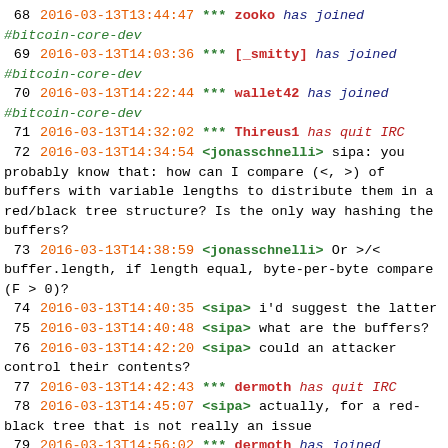IRC chat log from #bitcoin-core-dev, lines 68-81, dated 2016-03-13
68 2016-03-13T13:44:47 *** zooko has joined #bitcoin-core-dev
69 2016-03-13T14:03:36 *** [_smitty] has joined #bitcoin-core-dev
70 2016-03-13T14:22:44 *** wallet42 has joined #bitcoin-core-dev
71 2016-03-13T14:32:02 *** Thireus1 has quit IRC
72 2016-03-13T14:34:54 <jonasschnelli> sipa: you probably know that: how can I compare (<, >) of buffers with variable lengths to distribute them in a red/black tree structure? Is the only way hashing the buffers?
73 2016-03-13T14:38:59 <jonasschnelli> Or >/< buffer.length, if length equal, byte-per-byte compare (F > 0)?
74 2016-03-13T14:40:35 <sipa> i'd suggest the latter
75 2016-03-13T14:40:48 <sipa> what are the buffers?
76 2016-03-13T14:42:20 <sipa> could an attacker control their contents?
77 2016-03-13T14:42:43 *** dermoth has quit IRC
78 2016-03-13T14:45:07 <sipa> actually, for a red-black tree that is not really an issue
79 2016-03-13T14:56:02 *** dermoth has joined #bitcoin-core-dev
80 2016-03-13T14:59:23 <jonasschnelli> sipa: Thanks... yes. The later seems to work...
81 2016-03-13T14:59:50 <jonasschnelli> the buffers are holding "keys"